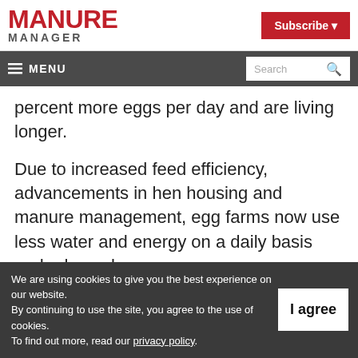MANURE MANAGER | Subscribe
≡ MENU | Search
percent more eggs per day and are living longer.
Due to increased feed efficiency, advancements in hen housing and manure management, egg farms now use less water and energy on a daily basis and release less
We are using cookies to give you the best experience on our website.
By continuing to use the site, you agree to the use of cookies.
To find out more, read our privacy policy.